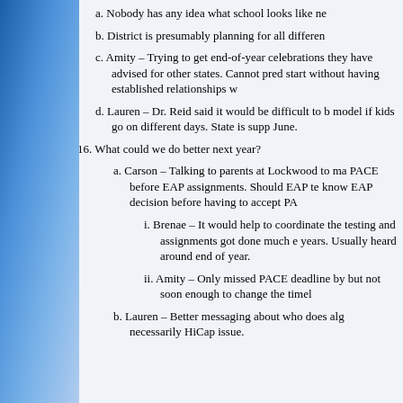a. Nobody has any idea what school looks like ne
b. District is presumably planning for all differen
c. Amity – Trying to get end-of-year celebrations they have advised for other states. Cannot pred start without having established relationships w
d. Lauren – Dr. Reid said it would be difficult to b model if kids go on different days. State is supp June.
16. What could we do better next year?
a. Carson – Talking to parents at Lockwood to ma PACE before EAP assignments. Should EAP te know EAP decision before having to accept PA
i. Brenae – It would help to coordinate the testing and assignments got done much e years. Usually heard around end of year.
ii. Amity – Only missed PACE deadline by but not soon enough to change the timel
b. Lauren – Better messaging about who does alg necessarily HiCap issue.